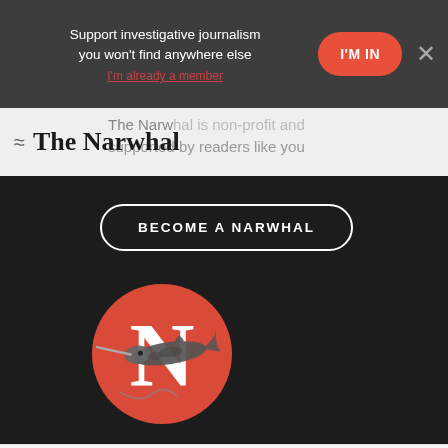Support investigative journalism you won't find anywhere else
I'M IN
I'm already a member
[Figure (logo): The Narwhal wordmark logo in serif font]
The Narwhal is non-profit and supported by readers like you
BECOME A NARWHAL
[Figure (logo): The Narwhal circular logo with red background, white N letterform and narwhal illustration]
SHARE